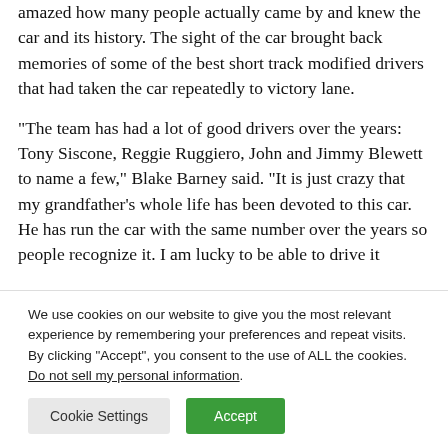amazed how many people actually came by and knew the car and its history. The sight of the car brought back memories of some of the best short track modified drivers that had taken the car repeatedly to victory lane.
“The team has had a lot of good drivers over the years: Tony Siscone, Reggie Ruggiero, John and Jimmy Blewett to name a few,” Blake Barney said. “It is just crazy that my grandfather’s whole life has been devoted to this car. He has run the car with the same number over the years so people recognize it. I am lucky to be able to drive it
We use cookies on our website to give you the most relevant experience by remembering your preferences and repeat visits. By clicking “Accept”, you consent to the use of ALL the cookies.
Do not sell my personal information.